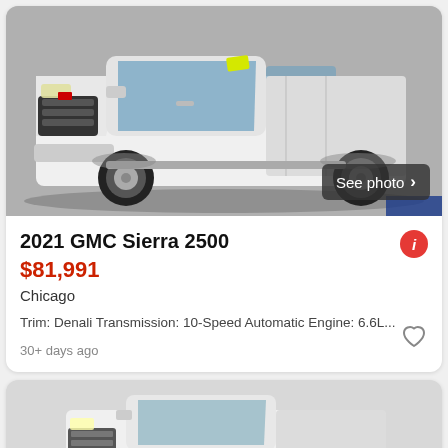[Figure (photo): White 2021 GMC Sierra 2500 truck photographed from front-left angle in a parking lot. A 'See photo >' button overlay is visible in the bottom right of the image. A yellow price tag sticker is visible on the windshield.]
2021 GMC Sierra 2500
$81,991
Chicago
Trim: Denali Transmission: 10-Speed Automatic Engine: 6.6L...
30+ days ago
[Figure (photo): White GMC Sierra truck photographed from front-left angle, partially visible at bottom of page, appears to be a stock or similar listing photo.]